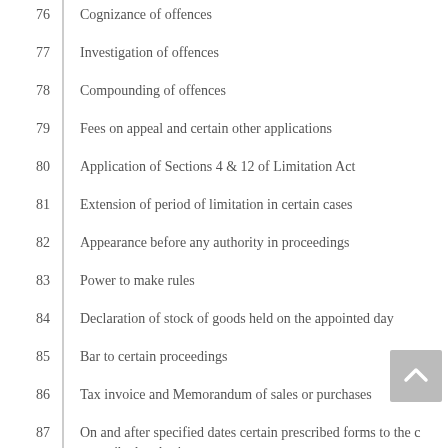76   Cognizance of offences
77   Investigation of offences
78   Compounding of offences
79   Fees on appeal and certain other applications
80   Application of Sections 4 & 12 of Limitation Act
81   Extension of period of limitation in certain cases
82   Appearance before any authority in proceedings
83   Power to make rules
84   Declaration of stock of goods held on the appointed day
85   Bar to certain proceedings
86   Tax invoice and Memorandum of sales or purchases
87   On and after specified dates certain prescribed forms to the c prescribed authority
88   Definitions under Chapter XIV
89   Grant of certificate of Entitlement